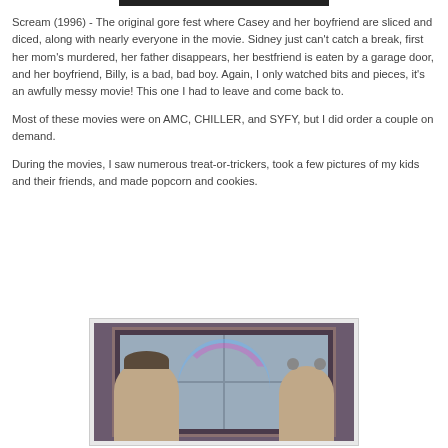Scream (1996) - The original gore fest where Casey and her boyfriend are sliced and diced, along with nearly everyone in the movie. Sidney just can't catch a break, first her mom's murdered, her father disappears, her bestfriend is eaten by a garage door, and her boyfriend, Billy, is a bad, bad boy. Again, I only watched bits and pieces, it's an awfully messy movie! This one I had to leave and come back to.
Most of these movies were on AMC, CHILLER, and SYFY, but I did order a couple on demand.
During the movies, I saw numerous treat-or-trickers, took a few pictures of my kids and their friends, and made popcorn and cookies.
[Figure (photo): Photo of two people in Halloween costumes standing in front of a window. One person wears a hat, the other has animal ears. A rainbow-colored accessory is visible.]